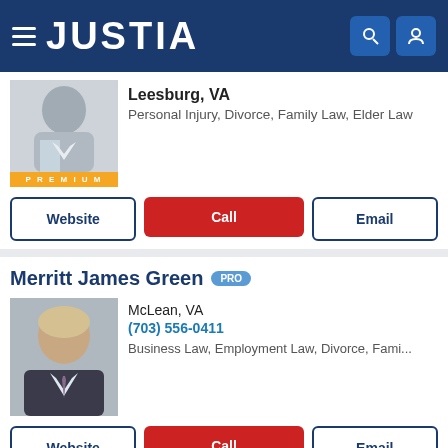JUSTIA
Leesburg, VA
Personal Injury, Divorce, Family Law, Elder Law
Website  Call  Email
Merritt James Green PRO
McLean, VA
(703) 556-0411
Business Law, Employment Law, Divorce, Fami...
Website  Call  Email
Justia Ask a Lawyer is a forum for consumers to get answers to basic legal questions. Any information sent through Justia Ask a